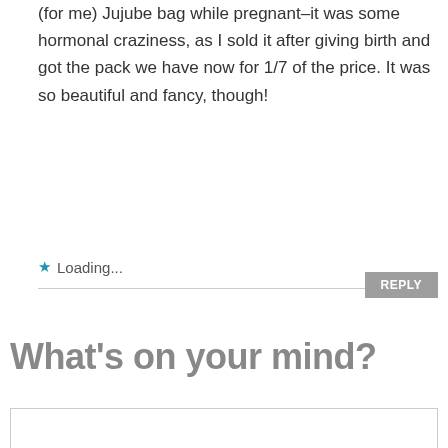(for me) Jujube bag while pregnant–it was some hormonal craziness, as I sold it after giving birth and got the pack we have now for 1/7 of the price. It was so beautiful and fancy, though!
★ Loading...
REPLY
What's on your mind?